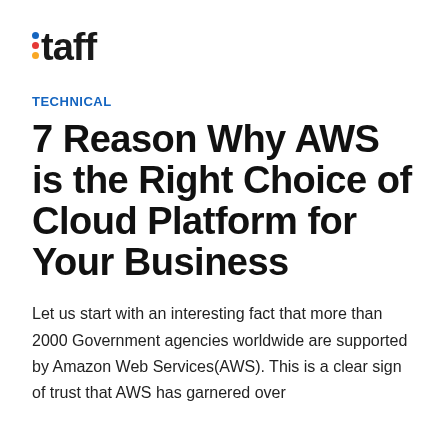[Figure (logo): taff logo with three colored dots (blue, red, yellow) to the left of the word 'taff' in bold black text]
TECHNICAL
7 Reason Why AWS is the Right Choice of Cloud Platform for Your Business
Let us start with an interesting fact that more than 2000 Government agencies worldwide are supported by Amazon Web Services(AWS). This is a clear sign of trust that AWS has garnered over